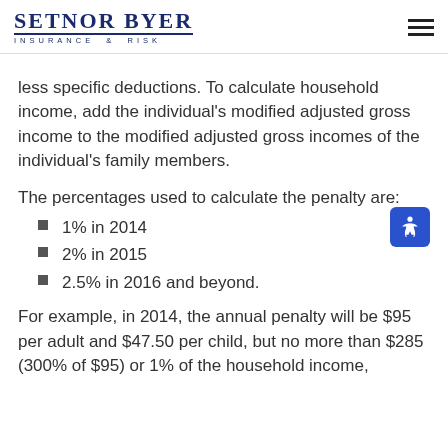SETNOR BYER INSURANCE & RISK
less specific deductions. To calculate household income, add the individual's modified adjusted gross income to the modified adjusted gross incomes of the individual's family members.
The percentages used to calculate the penalty are:
1% in 2014
2% in 2015
2.5% in 2016 and beyond.
For example, in 2014, the annual penalty will be $95 per adult and $47.50 per child, but no more than $285 (300% of $95) or 1% of the household income,